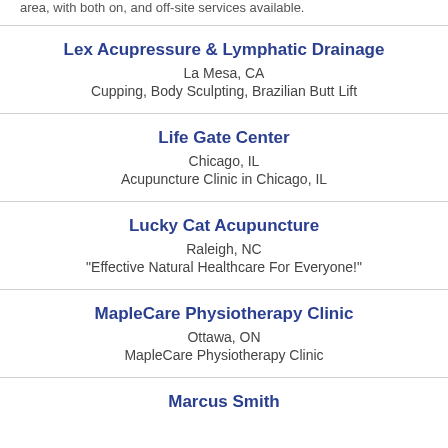area, with both on, and off-site services available.
Lex Acupressure & Lymphatic Drainage
La Mesa, CA
Cupping, Body Sculpting, Brazilian Butt Lift
Life Gate Center
Chicago, IL
Acupuncture Clinic in Chicago, IL
Lucky Cat Acupuncture
Raleigh, NC
"Effective Natural Healthcare For Everyone!"
MapleCare Physiotherapy Clinic
Ottawa, ON
MapleCare Physiotherapy Clinic
Marcus Smith